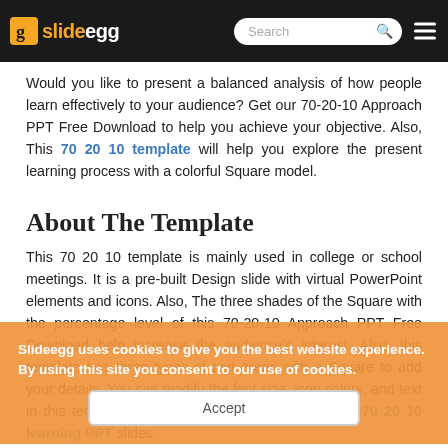slideegg [logo] Search [hamburger menu]
Would you like to present a balanced analysis of how people learn effectively to your audience? Get our 70-20-10 Approach PPT Free Download to help you achieve your objective. Also, This 70 20 10 template will help you explore the present learning process with a colorful Square model.
About The Template
This 70 20 10 template is mainly used in college or school meetings. It is a pre-built Design slide with virtual PowerPoint elements and icons. Also, The three shades of the Square with the percentage level of this 70-20-10 Approach PPT Free Download help increase the audience's interest. Also, this template has three types of text areas with a Square to add your details. You can modify the font size, icon colors, and text in this template. We also have the best picking of 70 20 10 learning PPT slides.
Slideegg uses cookies to give you the best website experience. By using this site you consent to our use of cookies.
[Accept]